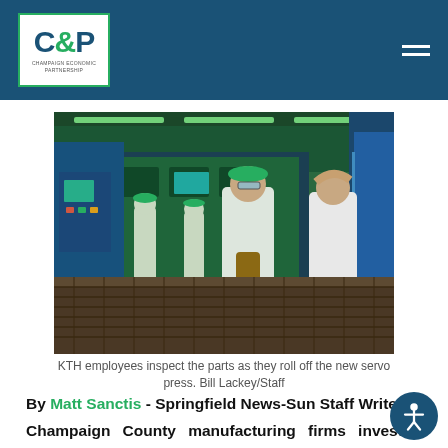CEP - Champaign Economic Partnership
[Figure (photo): Factory workers in white lab coats and green caps inspecting metal parts as they roll off a new servo press in a manufacturing facility lit with green lighting.]
KTH employees inspect the parts as they roll off the new servo press. Bill Lackey/Staff
By Matt Sanctis - Springfield News-Sun Staff Writer
Champaign County manufacturing firms invested more than $80 million and added slightly more than 100 new